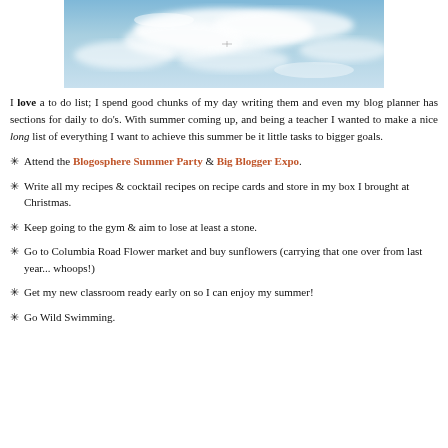[Figure (photo): Blue sky with white clouds, partial view of a sky photograph cropped at the top]
I love a to do list; I spend good chunks of my day writing them and even my blog planner has sections for daily to do's. With summer coming up, and being a teacher I wanted to make a nice long list of everything I want to achieve this summer be it little tasks to bigger goals.
Attend the Blogosphere Summer Party & Big Blogger Expo.
Write all my recipes & cocktail recipes on recipe cards and store in my box I brought at Christmas.
Keep going to the gym & aim to lose at least a stone.
Go to Columbia Road Flower market and buy sunflowers (carrying that one over from last year... whoops!)
Get my new classroom ready early on so I can enjoy my summer!
Go Wild Swimming.